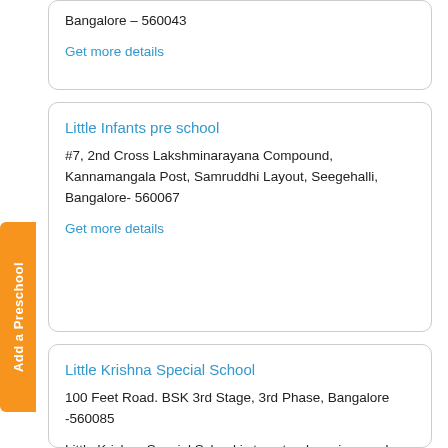Bangalore – 560043
Get more details
Little Infants pre school
#7, 2nd Cross Lakshminarayana Compound, Kannamangala Post, Samruddhi Layout, Seegehalli, Bangalore- 560067
Get more details
Little Krishna Special School
100 Feet Road. BSK 3rd Stage, 3rd Phase, Bangalore -560085
Little Krishna Special School is to extend services and expertise towards education and